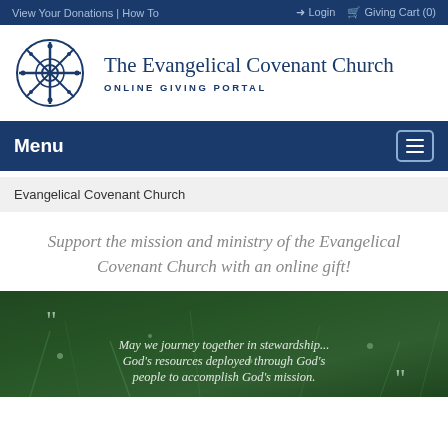View Your Donations | How To   Login   Giving Cart (0)
[Figure (logo): The Evangelical Covenant Church logo with cross/compass rose icon and text 'The Evangelical Covenant Church ONLINE GIVING PORTAL']
Menu
Evangelical Covenant Church
Support the mission and ministry of the Evangelical Covenant Church with an online gift!
[Figure (photo): Green grass with water droplets background image with overlaid quote: "May we journey together in stewardship... God's resources deployed through God's people to accomplish God's mission."]